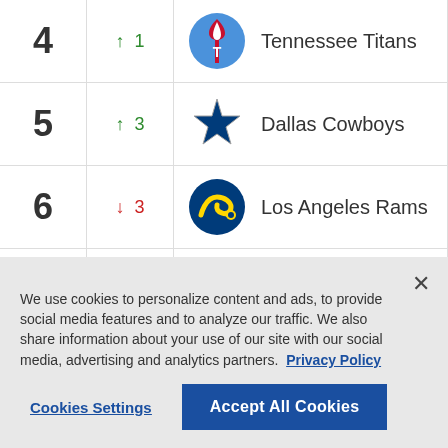| Rank | Change | Team |
| --- | --- | --- |
| 4 | ↑ 1 | Tennessee Titans |
| 5 | ↑ 3 | Dallas Cowboys |
| 6 | ↓ 3 | Los Angeles Rams |
| 7 | - | Cincinnati Bengals |
We use cookies to personalize content and ads, to provide social media features and to analyze our traffic. We also share information about your use of our site with our social media, advertising and analytics partners. Privacy Policy